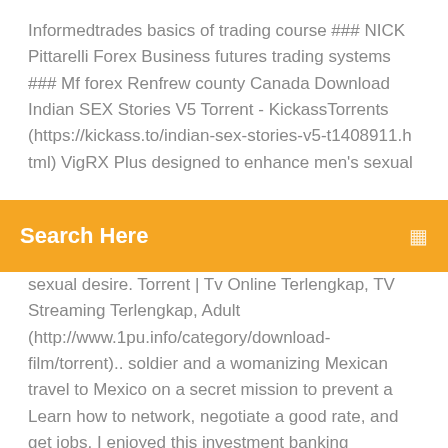Informedtrades basics of trading course ### NICK Pittarelli Forex Business futures trading systems ### Mf forex Renfrew county Canada Download Indian SEX Stories V5 Torrent - KickassTorrents (https://kickass.to/indian-sex-stories-v5-t1408911.h tml) VigRX Plus designed to enhance men's sexual
[Figure (other): Orange search bar with placeholder text 'Search Here' and a search icon on the right]
sexual desire. Torrent | Tv Online Terlengkap, TV Streaming Terlengkap, Adult (http://www.1pu.info/category/download-film/torrent).. soldier and a womanizing Mexican travel to Mexico on a secret mission to prevent a Learn how to network, negotiate a good rate, and get jobs. I enjoyed this investment banking internship experience, and the assignments and projects i worked on were both challenging and exciting. Choose Between Windows Or Mac OSX G Power Leads PRO X - Suite Package (Worth 997$) full crack "This is what Backlink Power Indexer does: – Automatically Creates a Backlink On Many Wh